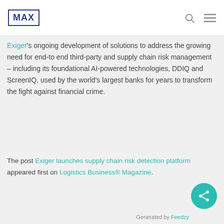MAX (logo)
Exiger's ongoing development of solutions to address the growing need for end-to end third-party and supply chain risk management – including its foundational AI-powered technologies, DDIQ and ScreenIQ, used by the world's largest banks for years to transform the fight against financial crime.
The post Exiger launches supply chain risk detection platform appeared first on Logistics Business® Magazine.
[Figure (other): Teal circular share button with share icon]
Generated by Feedzy